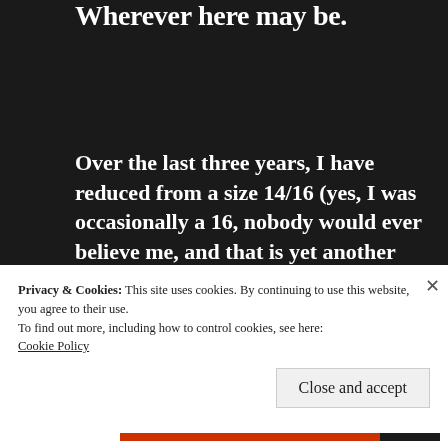Wherever here may be.
Over the last three years, I have reduced from a size 14/16 (yes, I was occasionally a 16, nobody would ever believe me, and that is yet another advantage of being tall) to a size 12 (with an occasional 10).  My closet is decimated.  I can fit
Privacy & Cookies: This site uses cookies. By continuing to use this website, you agree to their use.
To find out more, including how to control cookies, see here:
Cookie Policy
Close and accept